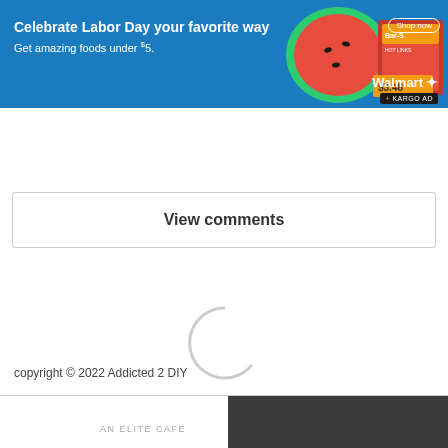[Figure (screenshot): Walmart advertisement banner with blue background. Shows watermelon and snack product images top right. Text: 'Celebrate Labor Day your favorite way' and 'Get amazing foods under $5.' with Walmart logo and KARGO AD badge.]
View comments
[Figure (other): Loading spinner graphic — partial circle arc in light gray indicating content is loading]
copyright © 2022 Addicted 2 DIY
AN ELITE CAFE